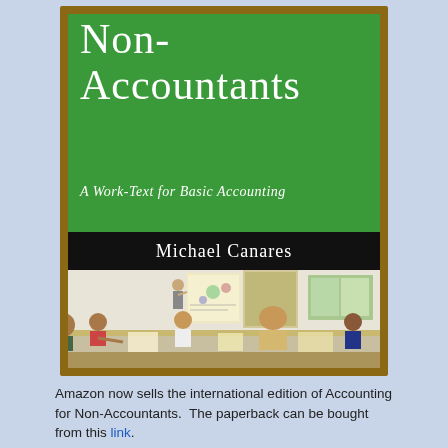[Figure (photo): Book cover of 'Accounting for Non-Accountants: A Work-Text for Basic Accounting' by Michael Canares, showing a green background with white title text, a black author band, and a photograph of a classroom/workshop setting with people seated at tables watching a presenter at a flipchart board.]
Amazon now sells the international edition of Accounting for Non-Accountants.  The paperback can be bought from this link.